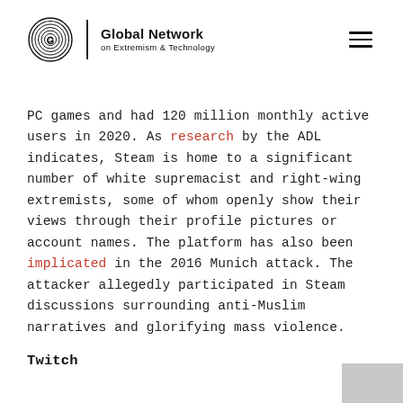Global Network on Extremism & Technology
PC games and had 120 million monthly active users in 2020. As research by the ADL indicates, Steam is home to a significant number of white supremacist and right-wing extremists, some of whom openly show their views through their profile pictures or account names. The platform has also been implicated in the 2016 Munich attack. The attacker allegedly participated in Steam discussions surrounding anti-Muslim narratives and glorifying mass violence.
Twitch